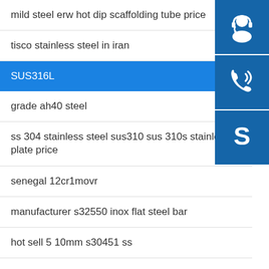mild steel erw hot dip scaffolding tube price
tisco stainless steel in iran
SUS316L
grade ah40 steel
ss 304 stainless steel sus310 sus 310s stainless plate price
senegal 12cr1movr
manufacturer s32550 inox flat steel bar
hot sell 5 10mm s30451 ss